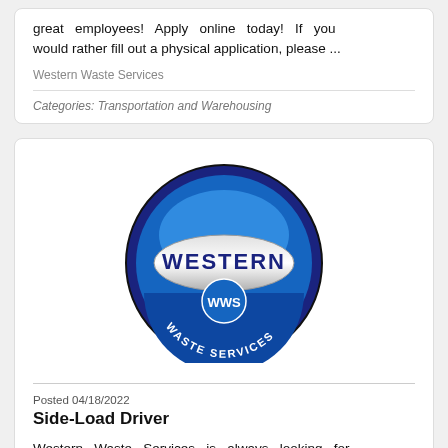great employees! Apply online today! If you would rather fill out a physical application, please ...
Western Waste Services
Categories: Transportation and Warehousing
[Figure (logo): Western Waste Services circular logo with 'WESTERN' banner across the middle and 'WWS' initials, blue and white color scheme]
Posted 04/18/2022
Side-Load Driver
Western Waste Services is always looking for great employees! Apply online today! If you